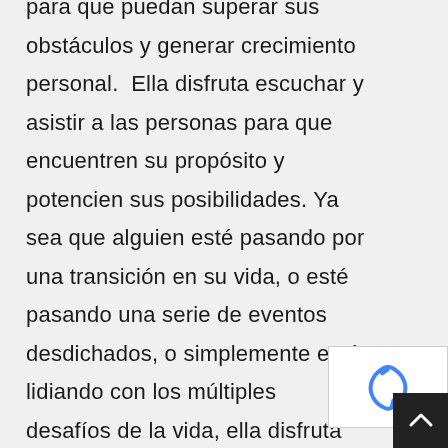para que puedan superar sus obstáculos y generar crecimiento personal.  Ella disfruta escuchar y asistir a las personas para que encuentren su propósito y potencien sus posibilidades. Ya sea que alguien esté pasando por una transición en su vida, o esté pasando una serie de eventos desdichados, o simplemente esté lidiando con los múltiples desafíos de la vida, ella disfruta de ser testigo del crecimiento y los logros